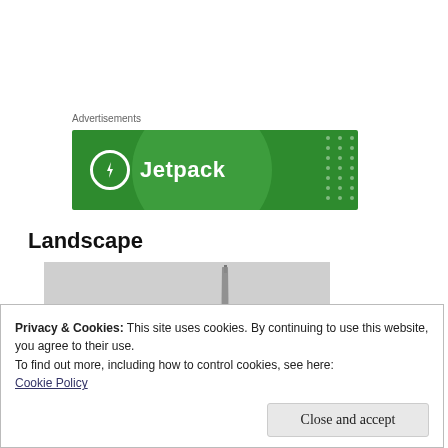Advertisements
[Figure (logo): Jetpack advertisement banner — green background with Jetpack logo (lightning bolt in circle) and brand name]
Landscape
[Figure (photo): Grayscale landscape photo showing a tall thin structure (tower/obelisk) against a light sky]
Privacy & Cookies: This site uses cookies. By continuing to use this website, you agree to their use.
To find out more, including how to control cookies, see here:
Cookie Policy
Close and accept
[Figure (photo): Partial grayscale thumbnail image at the bottom of the page]